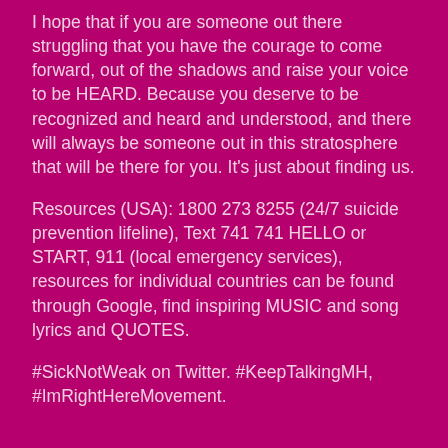I hope that if you are someone out there struggling that you have the courage to come forward, out of the shadows and raise your voice to be HEARD. Because you deserve to be recognized and heard and understood, and there will always be someone out in this stratosphere that will be there for you. It's just about finding us.
Resources (USA): 1800 273 8255 (24/7 suicide prevention lifeline), Text 741 741 HELLO or START, 911 (local emergency services), resources for individual countries can be found through Google, find inspiring MUSIC and song lyrics and QUOTES.
#SickNotWeak on Twitter. #KeepTalkingMH, #ImRightHereMovement.